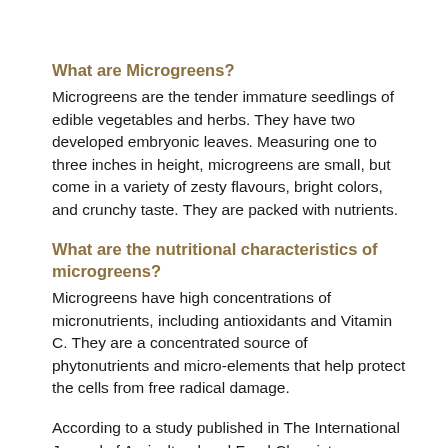What are Microgreens?
Microgreens are the tender immature seedlings of edible vegetables and herbs. They have two developed embryonic leaves. Measuring one to three inches in height, microgreens are small, but come in a variety of zesty flavours, bright colors, and crunchy taste. They are packed with nutrients.
What are the nutritional characteristics of microgreens?
Microgreens have high concentrations of micronutrients, including antioxidants and Vitamin C. They are a concentrated source of phytonutrients and micro-elements that help protect the cells from free radical damage.
According to a study published in The International Journal of Agricultural and Food Chemistry,